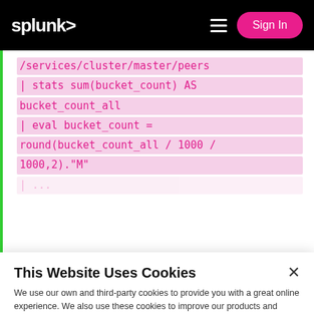splunk> Sign In
/services/cluster/master/peers
| stats sum(bucket_count) AS bucket_count_all
| eval bucket_count = round(bucket_count_all / 1000 / 1000,2)."M"
This Website Uses Cookies
We use our own and third-party cookies to provide you with a great online experience. We also use these cookies to improve our products and services, support our marketing campaigns, and advertise to you on our website and other websites. Some cookies may continue to collect information after you have left our website. Learn more here ›
Accept Cookies   Cookies Settings ›